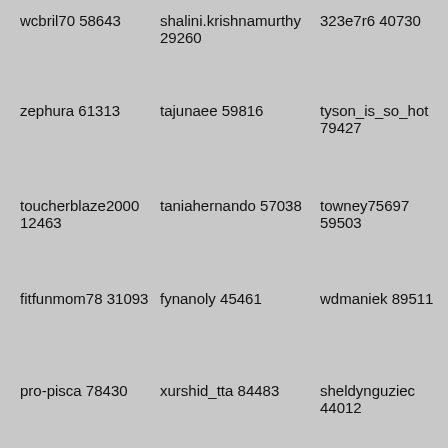wcbril70 58643
shalini.krishnamurthy 29260
323e7r6 40730
zephura 61313
tajunaee 59816
tyson_is_so_hot 79427
toucherblaze2000 12463
taniahernando 57038
towney75697 59503
fitfunmom78 31093
fynanoly 45461
wdmaniek 89511
pro-pisca 78430
xurshid_tta 84483
sheldynguziec 44012